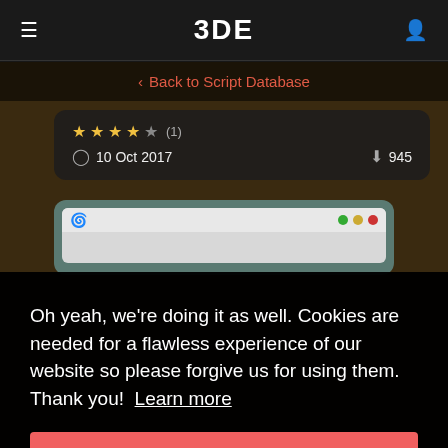3DE
< Back to Script Database
★★★★☆ (1)   🕐 10 Oct 2017   ⬇ 945
[Figure (screenshot): Python application window with green, yellow, red traffic light buttons on title bar]
Oh yeah, we're doing it as well. Cookies are needed for a flawless experience of our website so please forgive us for using them. Thank you!  Learn more
Alright